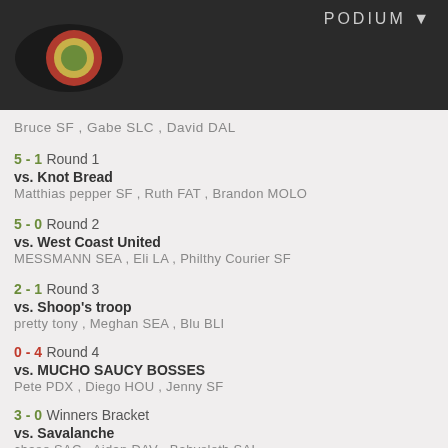PODIUM ▼
[Figure (logo): Concentric circles target logo (green center, yellow ring, red ring, black oval background)]
Bruce SF , Gabe SLC , David DAL
5 - 1 Round 1
vs. Knot Bread
Matthias pepper SF , Ruth FAT , Brandon MOLO
5 - 0 Round 2
vs. West Coast United
MESSMANN SEA , Eli LA , Philthy Courier SF
2 - 1 Round 3
vs. Shoop's troop
pretty tony , Meghan SEA , Blu BLI
0 - 4 Round 4
vs. MUCHO SAUCY BOSSES
Pete PDX , Diego HOU , Jenny SF
3 - 0 Winners Bracket
vs. Savalanche
chase SAC , Aidan DAV , Babysloth SAL
4 - 2 Winners Bracket Quarter-Final
vs. the strangers
Joe , Shitty , Jacki SF